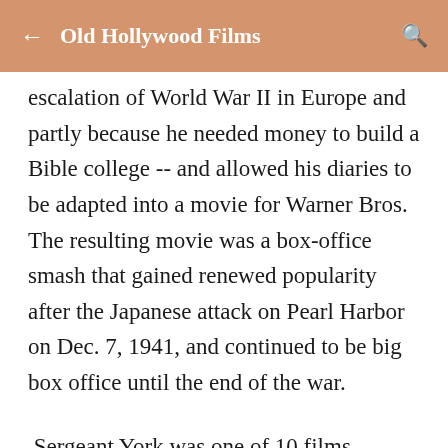Old Hollywood Films
escalation of World War II in Europe and partly because he needed money to build a Bible college -- and allowed his diaries to be adapted into a movie for Warner Bros. The resulting movie was a box-office smash that gained renewed popularity after the Japanese attack on Pearl Harbor on Dec. 7, 1941, and continued to be big box office until the end of the war.
Sergeant York was one of 10 films nominated for best picture in 1941, and, although it hasn't aged as well as some of the other nominees, it's still an interesting movie that captures the mood of a